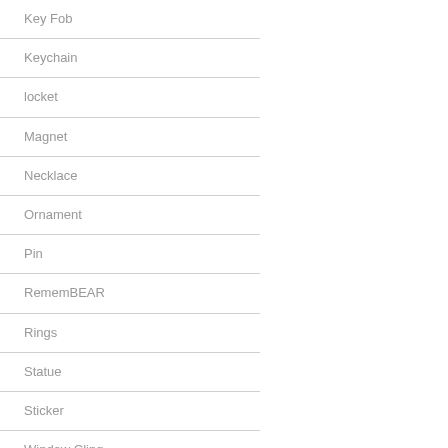Key Fob
Keychain
locket
Magnet
Necklace
Ornament
Pin
RememBEAR
Rings
Statue
Sticker
Window Cling
Wristband